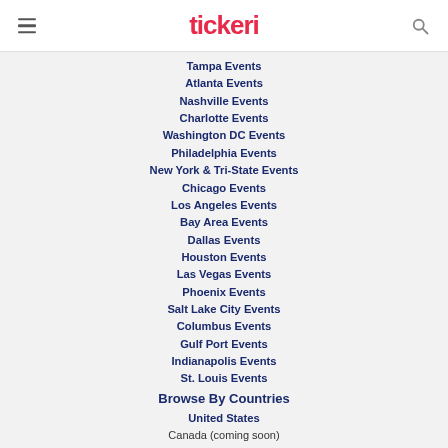tickeri
Tampa Events
Atlanta Events
Nashville Events
Charlotte Events
Washington DC Events
Philadelphia Events
New York & Tri-State Events
Chicago Events
Los Angeles Events
Bay Area Events
Dallas Events
Houston Events
Las Vegas Events
Phoenix Events
Salt Lake City Events
Columbus Events
Gulf Port Events
Indianapolis Events
St. Louis Events
Browse By Countries
United States
Canada (coming soon)
Puerto Rico (coming soon)
Mexico (coming soon)
Peru (coming soon)
Colombia (coming soon)
Chile (coming soon)
Browse By Genres
Bachata
Cumbia
Reggaeton